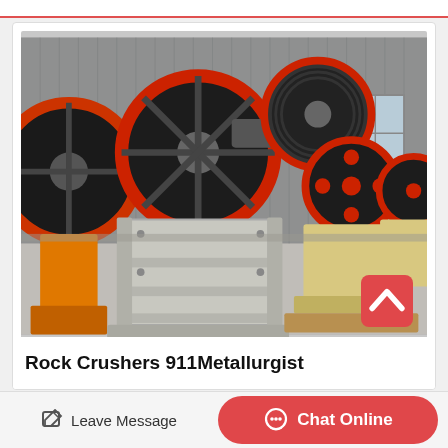[Figure (photo): Industrial jaw crusher machine in a factory/warehouse setting. The crusher is grey with large red-rimmed flywheels. Multiple similar machines visible in the background.]
Rock Crushers 911Metallurgist
Leave Message
Chat Online